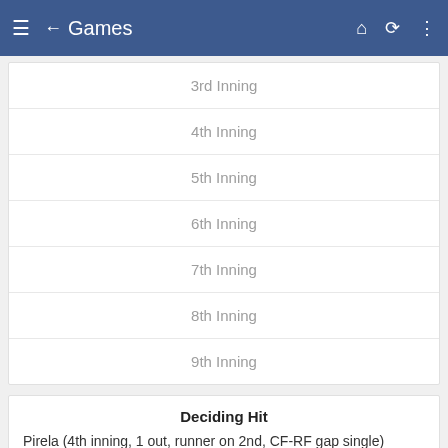Games
3rd Inning
4th Inning
5th Inning
6th Inning
7th Inning
8th Inning
9th Inning
Deciding Hit
Pirela (4th inning, 1 out, runner on 2nd, CF-RF gap single)
HR